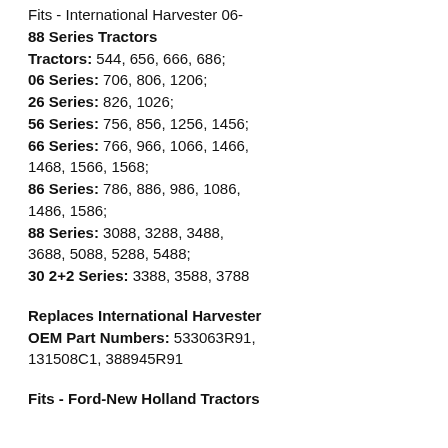Fits - International Harvester 06-88 Series Tractors
Tractors: 544, 656, 666, 686;
06 Series: 706, 806, 1206;
26 Series: 826, 1026;
56 Series: 756, 856, 1256, 1456;
66 Series: 766, 966, 1066, 1466, 1468, 1566, 1568;
86 Series: 786, 886, 986, 1086, 1486, 1586;
88 Series: 3088, 3288, 3488, 3688, 5088, 5288, 5488;
30 2+2 Series: 3388, 3588, 3788
Replaces International Harvester OEM Part Numbers: 533063R91, 131508C1, 388945R91
Fits - Ford-New Holland Tractors